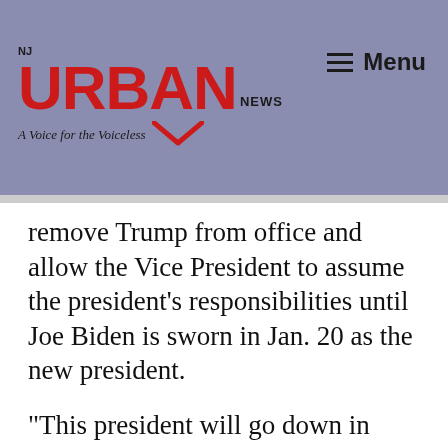NJ URBAN NEWS — A Voice for the Voiceless | Menu
remove Trump from office and allow the Vice President to assume the president's responsibilities until Joe Biden is sworn in Jan. 20 as the new president.
“This president will go down in history as the worst one America has ever had,” said Payne, Jr. “Since his election, he has shown a reckless disregard for the safety and security of the American people through his coronavirus response and his support for an insurrection against our country.